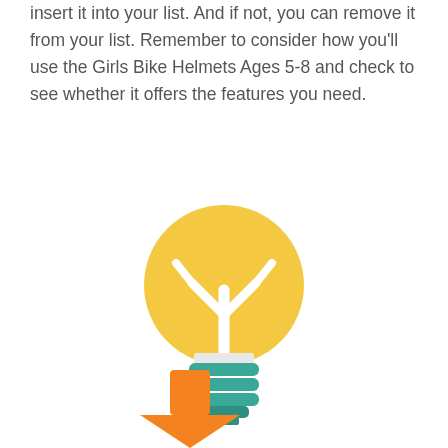insert it into your list. And if not, you can remove it from your list. Remember to consider how you'll use the Girls Bike Helmets Ages 5-8 and check to see whether it offers the features you need.
[Figure (illustration): A flat-style illustration of a yellow lightbulb with a teal/green base (screw threads), featuring a white stylized tree/branch symbol inside the bulb.]
[Figure (illustration): An orange downward arrow icon, partially visible at the bottom of the page.]